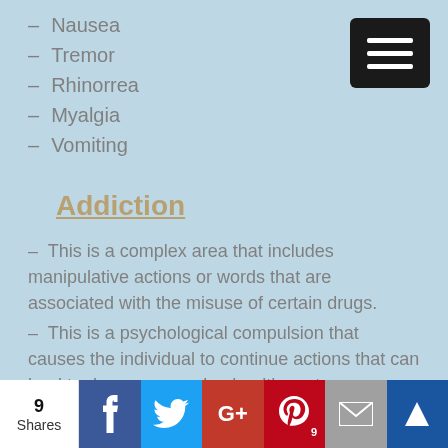– Nausea
– Tremor
– Rhinorrea
– Myalgia
– Vomiting
Addiction
– This is a complex area that includes manipulative actions or words that are associated with the misuse of certain drugs.
– This is a psychological compulsion that causes the individual to continue actions that can lead to dangerous and unhealthy outcomes.
Misuse of a medication may include but are not limited to the following:
9 Shares | Facebook | Twitter | Google+ | Pinterest 9 | Email | Blog